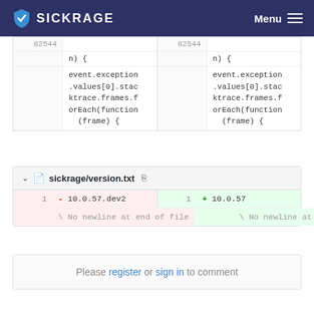SICKRAGE  Menu
[Figure (screenshot): Code diff view showing two columns with line number 82544 and code: n) { ... event.exception.values[0].stacktrace.frames.forEach(function (frame) {]
sickrage/version.txt
| line | del | line | add |
| --- | --- | --- | --- |
| 1 | - 10.0.57.dev2 | 1 | + 10.0.57 |
|  | \ No newline at end of file |  | \ No newline at end of file |
Please register or sign in to comment